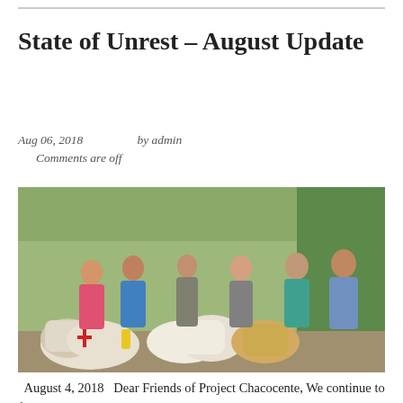State of Unrest – August Update
Aug 06, 2018    by admin
Comments are off
[Figure (photo): Group of people standing behind large bags of food/supplies, likely in a rural charitable distribution setting in Nicaragua.]
August 4, 2018   Dear Friends of Project Chacocente, We continue to follow the unrest in Nicaragua through media reports, email exchanges and social media posts of Nicaraguan and North American friends who are there, and frequent Skype conversations and text messaging with